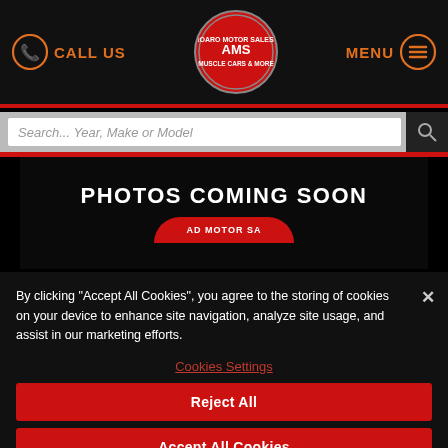CALL US | [Logo: Vanroaro Motor Sales - Muscle Cars & More] | MENU
Search... Year, Make or Model
[Figure (screenshot): Photos Coming Soon banner with partial dealership logo at bottom]
By clicking "Accept All Cookies", you agree to the storing of cookies on your device to enhance site navigation, analyze site usage, and assist in our marketing efforts.
Cookies Settings
Reject All
Accept All Cookies